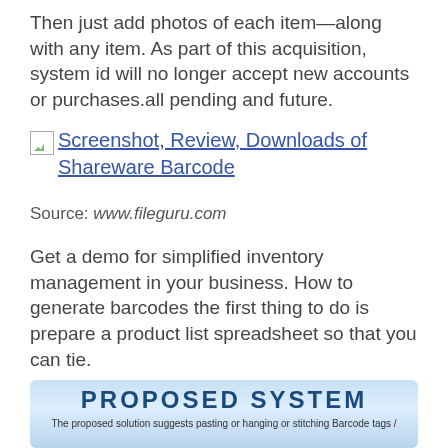Then just add photos of each item—along with any item. As part of this acquisition, system id will no longer accept new accounts or purchases.all pending and future.
[Figure (screenshot): Broken image icon with alt text: Screenshot, Review, Downloads of Shareware Barcode]
Source: www.fileguru.com
Get a demo for simplified inventory management in your business. How to generate barcodes the first thing to do is prepare a product list spreadsheet so that you can tie.
[Figure (screenshot): Proposed System banner with light blue gradient background showing 'PROPOSED SYSTEM' title and subtitle text: 'The proposed solution suggests pasting or hanging or stitching Barcode tags /']